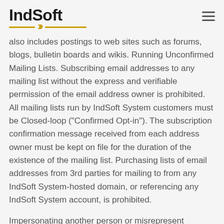IndSoft
also includes postings to web sites such as forums, blogs, bulletin boards and wikis. Running Unconfirmed Mailing Lists. Subscribing email addresses to any mailing list without the express and verifiable permission of the email address owner is prohibited. All mailing lists run by IndSoft System customers must be Closed-loop ("Confirmed Opt-in"). The subscription confirmation message received from each address owner must be kept on file for the duration of the existence of the mailing list. Purchasing lists of email addresses from 3rd parties for mailing to from any IndSoft System-hosted domain, or referencing any IndSoft System account, is prohibited.
Impersonating another person or misrepresent authorization to act on behalf of others. All messages